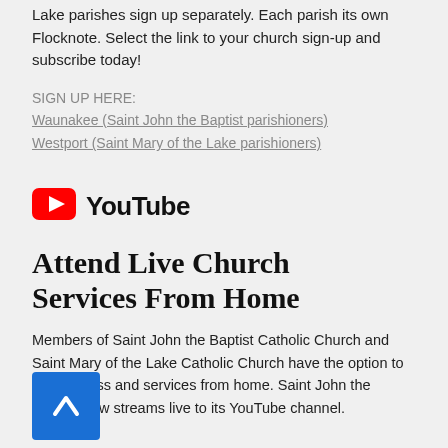Lake parishes sign up separately. Each parish its own Flocknote. Select the link to your church sign-up and subscribe today!
SIGN UP HERE:
Waunakee (Saint John the Baptist parishioners)
Westport (Saint Mary of the Lake parishioners)
[Figure (logo): YouTube logo with red play button icon and black YouTube wordmark]
Attend Live Church Services From Home
Members of Saint John the Baptist Catholic Church and Saint Mary of the Lake Catholic Church have the option to attend Mass and services from home. Saint John the Church now streams live to its YouTube channel.